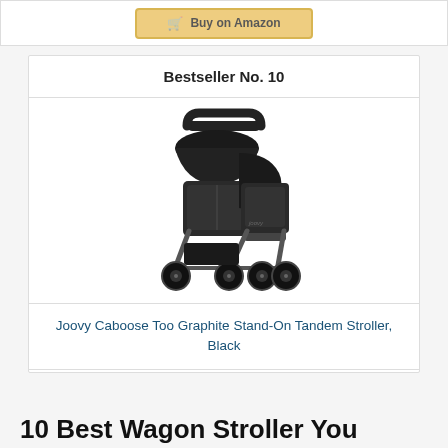[Figure (screenshot): Partial 'Buy on Amazon' button visible at top of page from previous section]
Bestseller No. 10
[Figure (photo): Joovy Caboose Too Graphite Stand-On Tandem Stroller in Black color - a double/tandem stroller with large sun canopy over front seat and second seat/stand-on platform at rear, four sets of wheels, black frame and fabric]
Joovy Caboose Too Graphite Stand-On Tandem Stroller, Black
[Figure (other): Buy on Amazon button with shopping cart icon]
10 Best Wagon Stroller You